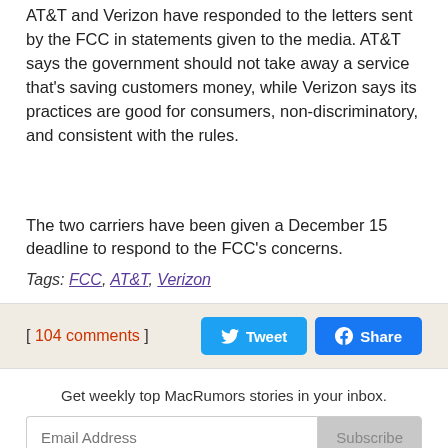AT&T and Verizon have responded to the letters sent by the FCC in statements given to the media. AT&T says the government should not take away a service that's saving customers money, while Verizon says its practices are good for consumers, non-discriminatory, and consistent with the rules.
The two carriers have been given a December 15 deadline to respond to the FCC's concerns.
Tags: FCC, AT&T, Verizon
[ 104 comments ]
Get weekly top MacRumors stories in your inbox.
Email Address Subscribe